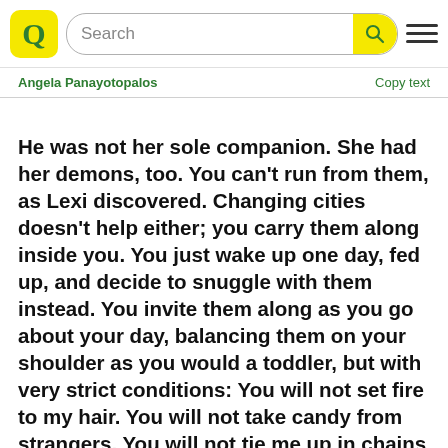Search
Angela Panayotopalos    Copy text
He was not her sole companion. She had her demons, too. You can't run from them, as Lexi discovered. Changing cities doesn't help either; you carry them along inside you. You just wake up one day, fed up, and decide to snuggle with them instead. You invite them along as you go about your day, balancing them on your shoulder as you would a toddler, but with very strict conditions: You will not set fire to my hair. You will not take candy from strangers. You will not tie me up in chains while I sleep. You will behave. And Lexi's demons, allowed to